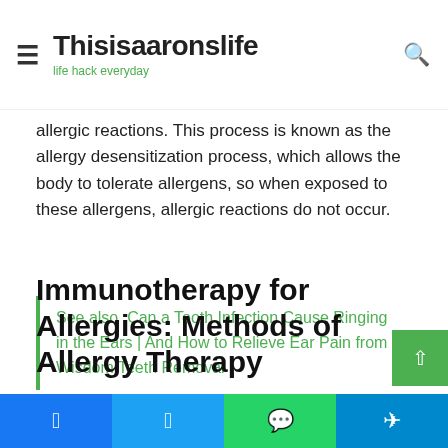Thisisaaronslife — life hack everyday
allergic reactions. This process is known as the allergy desensitization process, which allows the body to tolerate allergens, so when exposed to these allergens, allergic reactions do not occur.
See also  Can a Tooth Infection Cause Ringing in the Ears | And How to Relieve Ear Pain from Wisdom Teeth Removal
Immunotherapy for Allergies: Methods of Allergy Therapy